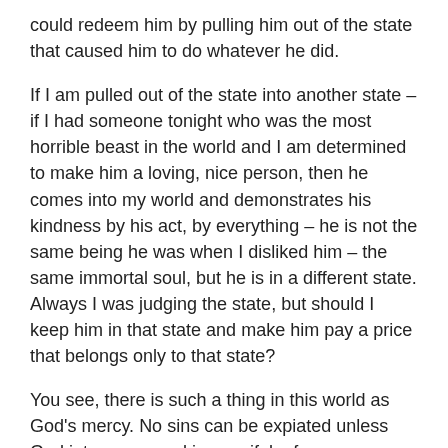could redeem him by pulling him out of the state that caused him to do whatever he did.
If I am pulled out of the state into another state – if I had someone tonight who was the most horrible beast in the world and I am determined to make him a loving, nice person, then he comes into my world and demonstrates his kindness by his act, by everything – he is not the same being he was when I disliked him – the same immortal soul, but he is in a different state. Always I was judging the state, but should I keep him in that state and make him pay a price that belongs only to that state?
You see, there is such a thing in this world as God's mercy. No sins can be expiated unless God intervenes and is merciful – for you are God and you can intervene. He gave it to you. Only God can forgive sin, and you can forgive sin: therefore, are you not he? God is merciful. Can't you be merciful